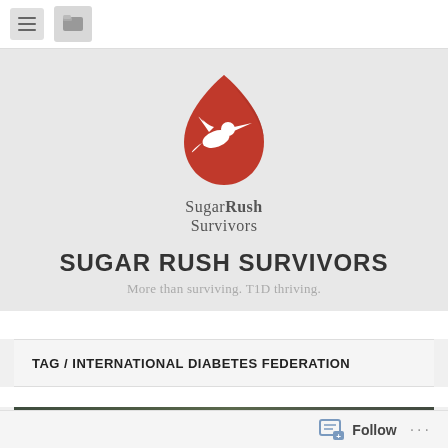Navigation bar with hamburger menu and folder icon
[Figure (logo): Sugar Rush Survivors logo: red teardrop/leaf shape with white hummingbird silhouette, with text 'SugarRush Survivors' in serif font below]
SUGAR RUSH SURVIVORS
More than surviving. T1D thriving.
TAG / INTERNATIONAL DIABETES FEDERATION
[Figure (photo): Partial photo of an outdoor scene, dark and blurry, appears to show people or objects in a natural setting]
Follow ...